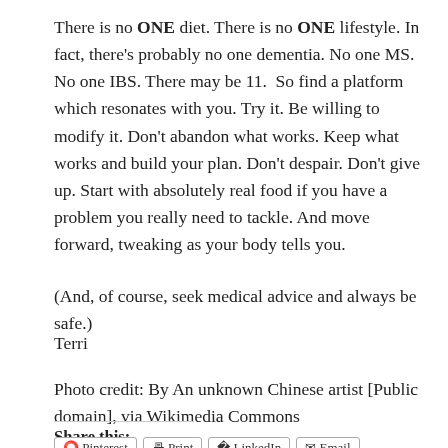There is no ONE diet. There is no ONE lifestyle. In fact, there's probably no one dementia. No one MS. No one IBS. There may be 11.  So find a platform which resonates with you. Try it. Be willing to modify it. Don't abandon what works. Keep what works and build your plan. Don't despair. Don't give up. Start with absolutely real food if you have a problem you really need to tackle. And move forward, tweaking as your body tells you.
(And, of course, seek medical advice and always be safe.)
Terri
Photo credit: By An unknown Chinese artist [Public domain], via Wikimedia Commons
Share this: